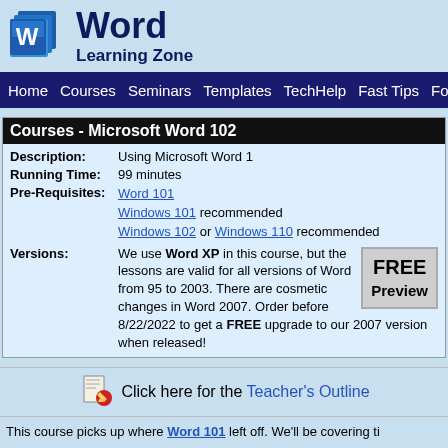[Figure (logo): Microsoft Word W logo icon — blue layered squares with white W]
Word Learning Zone
Home  Courses  Seminars  Templates  TechHelp  Fast Tips  Forum
Courses - Microsoft Word 102
| Description: | Using Microsoft Word 1 |
| Running Time: | 99 minutes |
| Pre-Requisites: | Word 101
Windows 101 recommended
Windows 102 or Windows 110 recommended |
| Versions: | We use Word XP in this course, but the lessons are valid for all versions of Word from 95 to 2003. There are cosmetic changes in Word 2007. Order before 8/22/2022 to get a FREE upgrade to our 2007 version when released! |
[Figure (illustration): Pencil/writing icon for Teacher's Outline link]
Click here for the Teacher's Outline
This course picks up where Word 101 left off. We'll be covering...